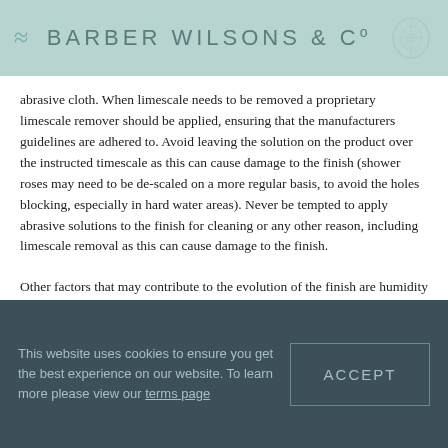BARBER WILSONS & Co
abrasive cloth. When limescale needs to be removed a proprietary limescale remover should be applied, ensuring that the manufacturers guidelines are adhered to. Avoid leaving the solution on the product over the instructed timescale as this can cause damage to the finish (shower roses may need to be de-scaled on a more regular basis, to avoid the holes blocking, especially in hard water areas). Never be tempted to apply abrasive solutions to the finish for cleaning or any other reason, including limescale removal as this can cause damage to the finish.
Other factors that may contribute to the evolution of the finish are humidity and sunlight, clients are urged to give careful consideration to the live nature of these product.
This website uses cookies to ensure you get the best experience on our website. To learn more please view our terms page